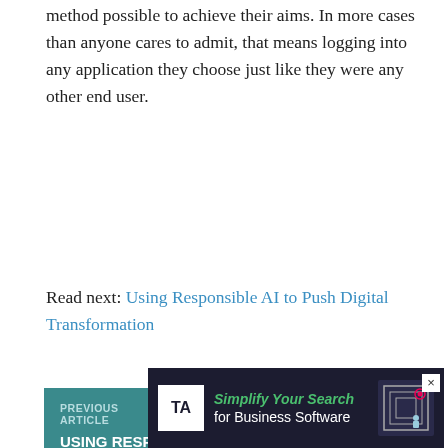method possible to achieve their aims. In more cases than anyone cares to admit, that means logging into any application they choose just like they were any other end user.
Read next: Using Responsible AI to Push Digital Transformation
[Figure (infographic): Previous Article card: USING RESPONSIBLE AI TO PUSH DIGITAL TRANSFORMATION on teal background]
[Figure (infographic): Next Article card: TEXAS OUTAGES ARE A REMINDER TO PLAN FOR RELOCATION AND INFRASTRUCTURE RISKS on teal background]
[Figure (infographic): Advertisement banner: Simplify Your Search for Business Software with TA logo and maze graphic]